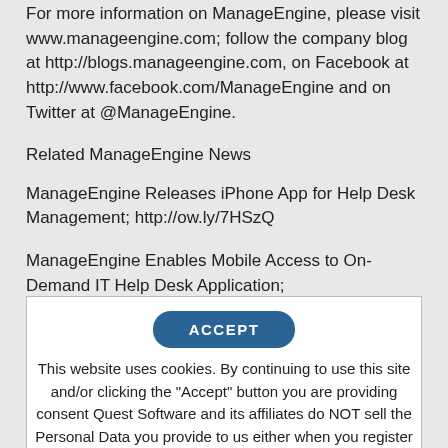For more information on ManageEngine, please visit www.manageengine.com; follow the company blog at http://blogs.manageengine.com, on Facebook at http://www.facebook.com/ManageEngine and on Twitter at @ManageEngine.
Related ManageEngine News
ManageEngine Releases iPhone App for Help Desk Management; http://ow.ly/7HSzQ
ManageEngine Enables Mobile Access to On-Demand IT Help Desk Application; http://ow.ly/7hRW1
[Figure (screenshot): Cookie consent overlay with ACCEPT button and cookie policy text]